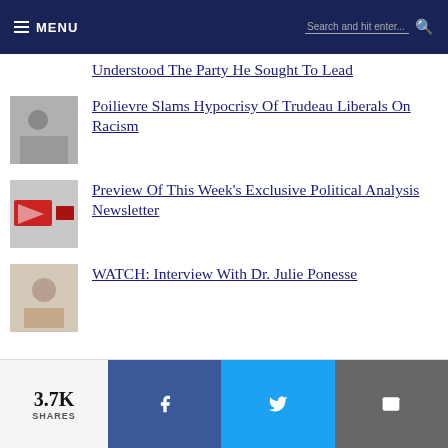MENU | Search and hit enter...
Understood The Party He Sought To Lead
Poilievre Slams Hypocrisy Of Trudeau Liberals On Racism
Preview Of This Week's Exclusive Political Analysis Newsletter
WATCH: Interview With Dr. Julie Ponesse
3.7K SHARES